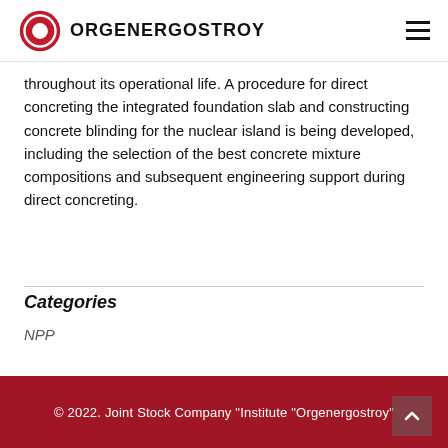ORGENERGOSTROY
throughout its operational life. A procedure for direct concreting the integrated foundation slab and constructing concrete blinding for the nuclear island is being developed, including the selection of the best concrete mixture compositions and subsequent engineering support during direct concreting.
Categories
NPP
© 2022. Joint Stock Company "Institute "Orgenergostroy"